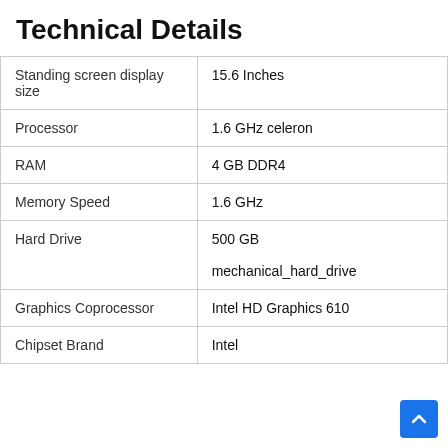Technical Details
|  |  |
| --- | --- |
| Standing screen display size | 15.6 Inches |
| Processor | 1.6 GHz celeron |
| RAM | 4 GB DDR4 |
| Memory Speed | 1.6 GHz |
| Hard Drive | 500 GB
mechanical_hard_drive |
| Graphics Coprocessor | Intel HD Graphics 610 |
| Chipset Brand | Intel |